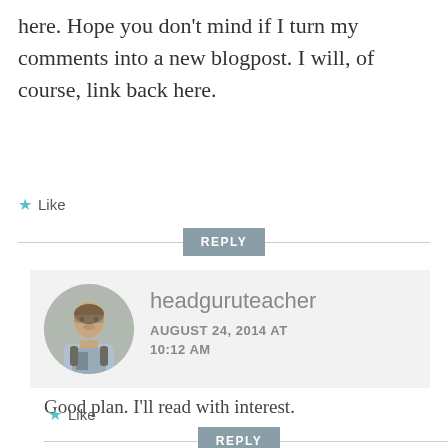here. Hope you don't mind if I turn my comments into a new blogpost. I will, of course, link back here.
★ Like
REPLY
headguruteacher
AUGUST 24, 2014 AT 10:12 AM
Good plan. I'll read with interest.
★ Like
REPLY